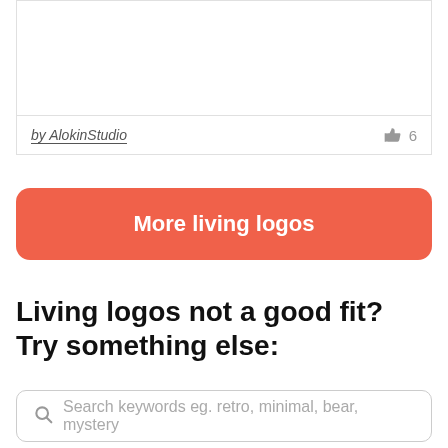[Figure (other): White image area (top portion of a logo display card)]
by AlokinStudio  👍 6
More living logos
Living logos not a good fit? Try something else:
Search keywords eg. retro, minimal, bear, mystery